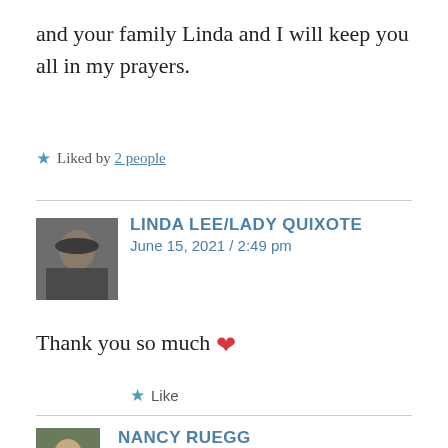and your family Linda and I will keep you all in my prayers.
★ Liked by 2 people
LINDA LEE/LADY QUIXOTE
June 15, 2021 / 2:49 pm
Thank you so much ❤
★ Like
NANCY RUEGG